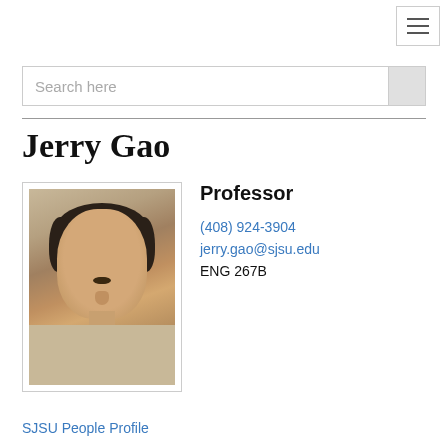[Figure (screenshot): Hamburger menu icon button in top right corner]
Search here
Jerry Gao
[Figure (photo): Headshot photo of Professor Jerry Gao]
Professor
(408) 924-3904
jerry.gao@sjsu.edu
ENG 267B
SJSU People Profile